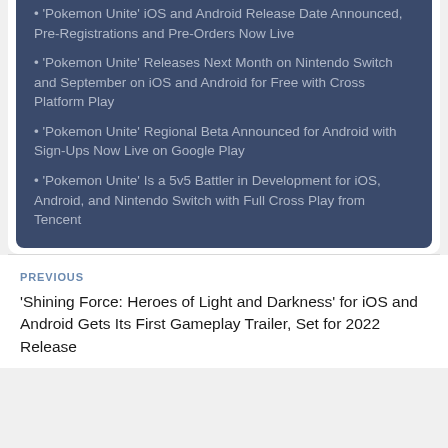• 'Pokemon Unite' iOS and Android Release Date Announced, Pre-Registrations and Pre-Orders Now Live
• 'Pokemon Unite' Releases Next Month on Nintendo Switch and September on iOS and Android for Free with Cross Platform Play
• 'Pokemon Unite' Regional Beta Announced for Android with Sign-Ups Now Live on Google Play
• 'Pokemon Unite' Is a 5v5 Battler in Development for iOS, Android, and Nintendo Switch with Full Cross Play from Tencent
PREVIOUS
'Shining Force: Heroes of Light and Darkness' for iOS and Android Gets Its First Gameplay Trailer, Set for 2022 Release